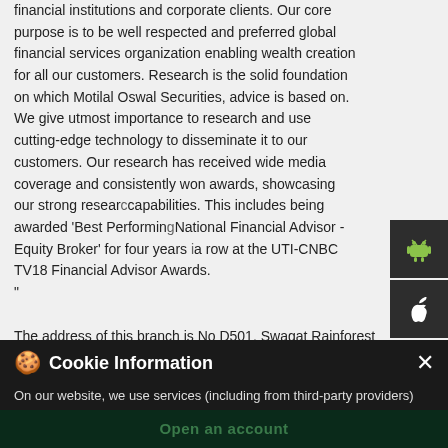financial institutions and corporate clients. Our core purpose is to be well respected and preferred global financial services organization enabling wealth creation for all our customers. Research is the solid foundation on which Motilal Oswal Securities, advice is based on. We give utmost importance to research and use cutting-edge technology to disseminate it to our customers. Our research has received wide media coverage and consistently won awards, showcasing our strong research capabilities. This includes being awarded 'Best Performing National Financial Advisor - Equity Broker' for four years in a row at the UTI-CNBC TV18 Financial Advisor Awards. "
The address of this branch is No D501, Swagat Rainforest 2, Opposite Swaminarayan Dham, Kudasan, Gandhinagar, Gujarat – 382421.
Cookie Information
On our website, we use services (including from third-party providers) that help us to improve our online presence (optimization of website) and to display content that is geared to their interests. We need your consent before being able to use these services.
I ACCEPT
Open an account